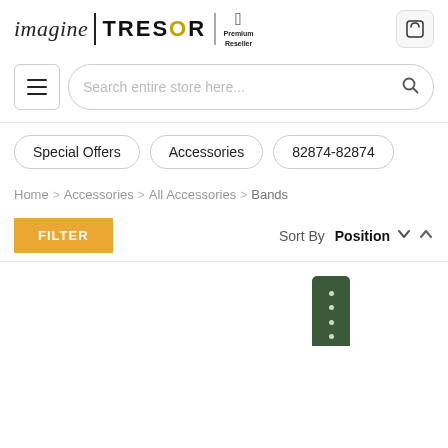[Figure (logo): imagine | TRESOR Apple Premium Reseller logo with shopping cart icon]
[Figure (screenshot): Search bar with hamburger menu button on the left and search icon on the right]
Special Offers
Accessories
82874-82874
Home > Accessories > All Accessories > Bands
FILTER   Sort By Position
[Figure (photo): Green Apple Watch band shown vertically at the bottom of the page]